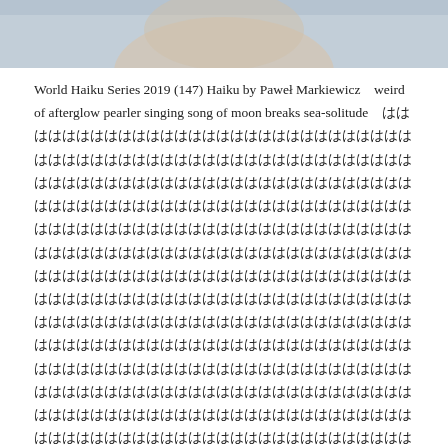[Figure (photo): Partial photo of a person wearing a grey shirt, cropped to show neck and lower face area]
World Haiku Series 2019 (147) Haiku by Paweł Markiewicz   weird of afterglow pearler singing song of moon breaks sea-solitude   ははははははははははははははははははははははははははははははははははははは matutinal sun keel swimming to new island laden with the pearls   はははははははははははははははははははははははははははははははははははははは   under summer moon a pearl in dreamy gull's beak marine wizardry   はははははははははははははははははははははははははははははははははははははは …
Continue reading
Hiruta   Haiku, World Haiku Series   Leave a comment   2020/06/30